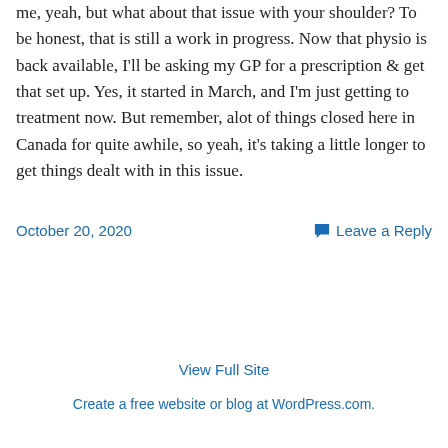me, yeah, but what about that issue with your shoulder? To be honest, that is still a work in progress. Now that physio is back available, I'll be asking my GP for a prescription & get that set up. Yes, it started in March, and I'm just getting to treatment now. But remember, alot of things closed here in Canada for quite awhile, so yeah, it's taking a little longer to get things dealt with in this issue.
October 20, 2020
Leave a Reply
View Full Site
Create a free website or blog at WordPress.com.